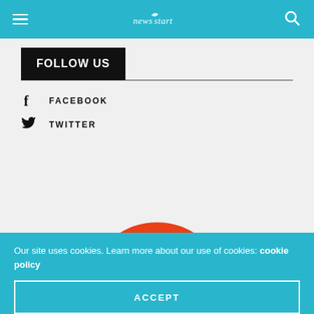Navigation header with hamburger menu, logo, and search icon
FOLLOW US
FACEBOOK
TWITTER
[Figure (logo): Orange soccer ball / shield icon, partially visible at bottom of page]
Our site uses cookies. Learn more about our use of cookies: cookie policy
ACCEPT